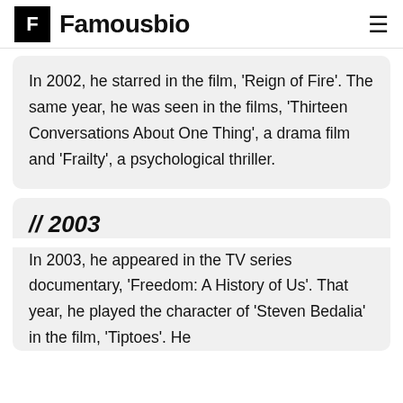Famousbio
In 2002, he starred in the film, 'Reign of Fire'. The same year, he was seen in the films, 'Thirteen Conversations About One Thing', a drama film and 'Frailty', a psychological thriller.
// 2003
In 2003, he appeared in the TV series documentary, 'Freedom: A History of Us'. That year, he played the character of 'Steven Bedalia' in the film, 'Tiptoes'. He